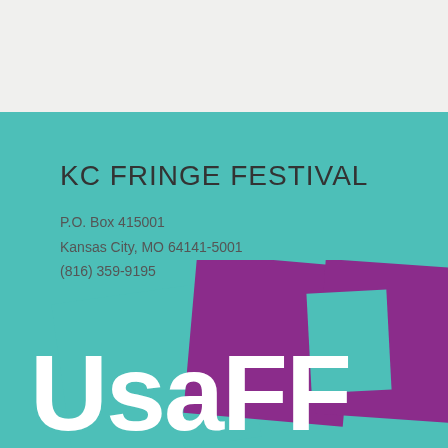KC FRINGE FESTIVAL
P.O. Box 415001
Kansas City, MO 64141-5001
(816) 359-9195
[Figure (logo): USaFF logo with colorful overlapping geometric shapes in teal and purple with bold white text reading UsaFF]